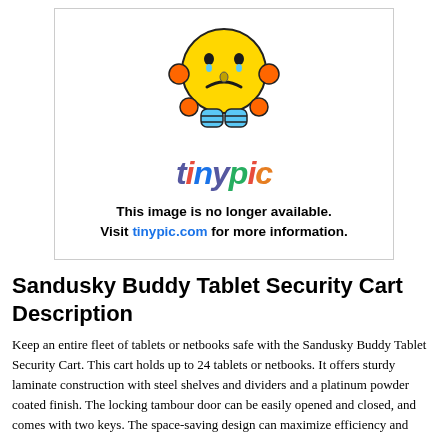[Figure (illustration): Tinypic.com placeholder image showing a sad yellow emoji face with blue body, orange ears, and the tinypic logo below it. Text reads: 'This image is no longer available. Visit tinypic.com for more information.']
Sandusky Buddy Tablet Security Cart Description
Keep an entire fleet of tablets or netbooks safe with the Sandusky Buddy Tablet Security Cart. This cart holds up to 24 tablets or netbooks. It offers sturdy laminate construction with steel shelves and dividers and a platinum powder coated finish. The locking tambour door can be easily opened and closed, and comes with two keys. The space-saving design can maximize efficiency and